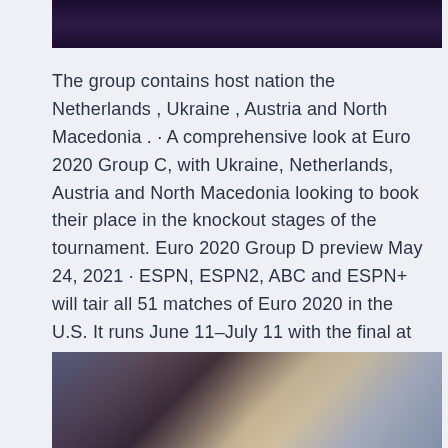[Figure (photo): Dark purple/navy blurred image at the top of the page]
The group contains host nation the Netherlands , Ukraine , Austria and North Macedonia . · A comprehensive look at Euro 2020 Group C, with Ukraine, Netherlands, Austria and North Macedonia looking to book their place in the knockout stages of the tournament. Euro 2020 Group D preview May 24, 2021 · ESPN, ESPN2, ABC and ESPN+ will tair all 51 matches of Euro 2020 in the U.S. It runs June 11–July 11 with the final at Wembley Stadium.
[Figure (photo): Blurred outdoor photo with silhouettes and warm/cool tones at the bottom of the page]